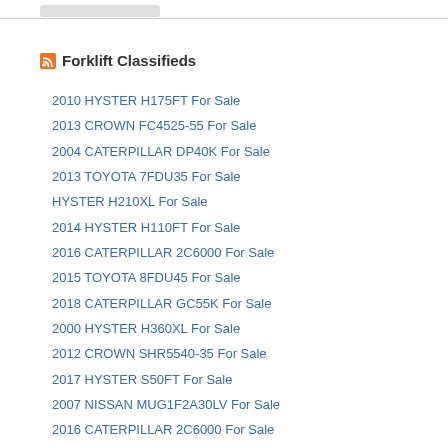Forklift Classifieds
2010 HYSTER H175FT For Sale
2013 CROWN FC4525-55 For Sale
2004 CATERPILLAR DP40K For Sale
2013 TOYOTA 7FDU35 For Sale
HYSTER H210XL For Sale
2014 HYSTER H110FT For Sale
2016 CATERPILLAR 2C6000 For Sale
2015 TOYOTA 8FDU45 For Sale
2018 CATERPILLAR GC55K For Sale
2000 HYSTER H360XL For Sale
2012 CROWN SHR5540-35 For Sale
2017 HYSTER S50FT For Sale
2007 NISSAN MUG1F2A30LV For Sale
2016 CATERPILLAR 2C6000 For Sale
1997 TOYOTA T3600D For Sale
NISSAN MCP1F2A20LV For Sale
1984 CLARK C500YS80 For Sale